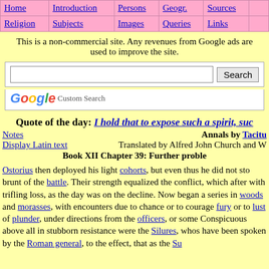Home | Introduction | Persons | Geogr. | Sources | Religion | Subjects | Images | Queries | Links
This is a non-commercial site. Any revenues from Google ads are used to improve the site.
[Figure (screenshot): Google Custom Search box with Search button]
Quote of the day: I hold that to expose such a spirit, suc
Notes
Display Latin text
Annals by Tacitu
Translated by Alfred John Church and W
Book XII Chapter 39: Further proble
Ostorius then deployed his light cohorts, but even thus he did not sto brunt of the battle. Their strength equalized the conflict, which after with trifling loss, as the day was on the decline. Now began a series in woods and morasses, with encounters due to chance or to courage fury or to lust of plunder, under directions from the officers, or some Conspicuous above all in stubborn resistance were the Silures, whos have been spoken by the Roman general, to the effect, that as the Su